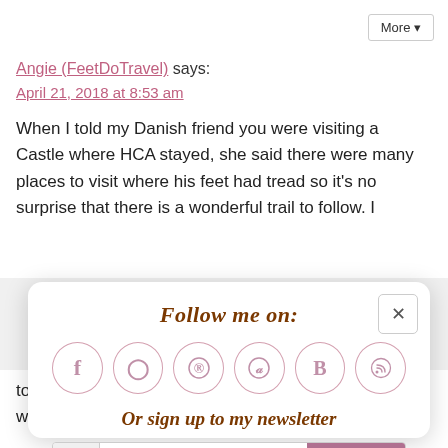More ▾
Angie (FeetDoTravel) says:
April 21, 2018 at 8:53 am
When I told my Danish friend you were visiting a Castle where HCA stayed, she said there were many places to visit where his feet had tread so it's no surprise that there is a wonderful trail to follow. I
[Figure (screenshot): Modal popup titled 'Follow me on:' with social media icons (Facebook, Instagram, Pinterest, Twitter, Bloglovin, RSS), a newsletter signup line 'Or sign up to my newsletter', and a Subscribe input with Sign Up button. A close (x) button is in the top right.]
to Denmark this June, would love to visit Odense as well! Thanks so much for sharing, your stories are